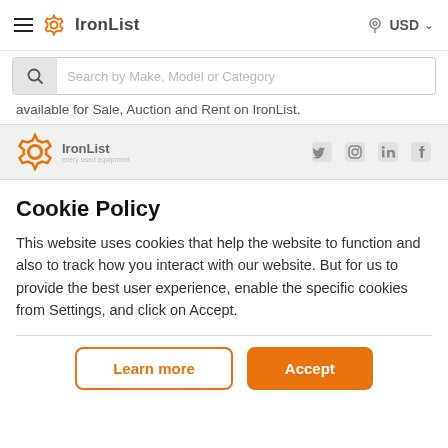≡ IronList  USD ∨
[Figure (screenshot): Search bar with magnifying glass icon and placeholder text 'Search by Make, Model or Category']
available for Sale, Auction and Rent on IronList.
[Figure (logo): IronList logo with gear icon and social media icons (Twitter, Instagram, LinkedIn, Facebook)]
Cookie Policy
This website uses cookies that help the website to function and also to track how you interact with our website. But for us to provide the best user experience, enable the specific cookies from Settings, and click on Accept.
Learn more  Accept